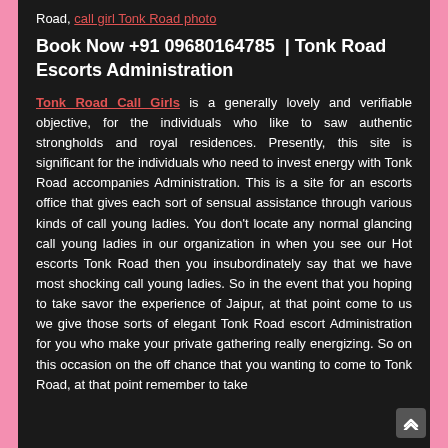Road, call girl Tonk Road photo
Book Now +91 09680164785 | Tonk Road Escorts Administration
Tonk Road Call Girls is a generally lovely and verifiable objective, for the individuals who like to saw authentic strongholds and royal residences. Presently, this site is significant for the individuals who need to invest energy with Tonk Road accompanies Administration. This is a site for an escorts office that gives each sort of sensual assistance through various kinds of call young ladies. You don't locate any normal glancing call young ladies in our organization in when you see our Hot escorts Tonk Road then you insubordinately say that we have most shocking call young ladies. So in the event that you hoping to take savor the experience of Jaipur, at that point come to us we give those sorts of elegant Tonk Road escort Administration for you who make your private gathering really energizing. So on this occasion on the off chance that you wanting to come to Tonk Road, at that point remember to take